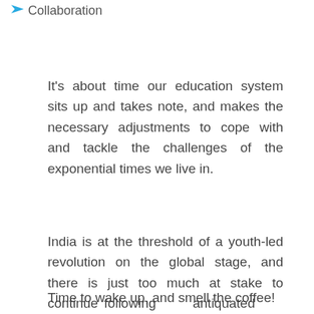Collaboration
It's about time our education system sits up and takes note, and makes the necessary adjustments to cope with and tackle the challenges of the exponential times we live in.
India is at the threshold of a youth-led revolution on the global stage, and there is just too much at stake to continue following antiquated 20th-century models!
Time to wake up, and smell the coffee!